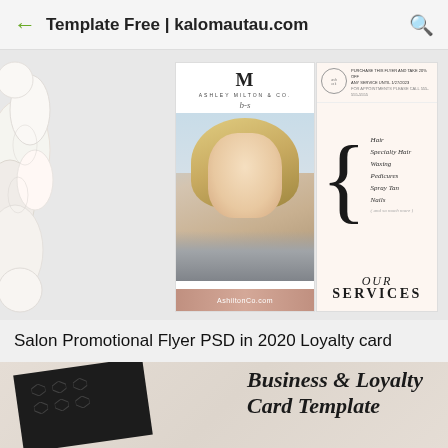Template Free | kalomautau.com
[Figure (photo): Salon promotional flyer PSD showing two cards: left card with a woman's portrait photo and Ashley Milton & Co branding, right card with 'Our Services' listing Hair, Specialty Hair, Waxing, Pedicures, Spray Tan, Nails in a bracket design on blush background. Floral background visible on left side.]
Salon Promotional Flyer PSD in 2020 Loyalty card
[Figure (photo): Bottom portion showing a dark business card at an angle with hexagon patterns on the left, and italic script text reading 'Business & Loyalty Card Template' on the right, on a beige/linen background.]